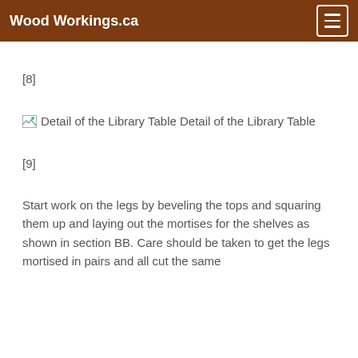Wood Workings.ca
[8]
[Figure (photo): Detail of the Library Table — broken image placeholder with alt text]
Detail of the Library Table
[9]
Start work on the legs by beveling the tops and squaring them up and laying out the mortises for the shelves as shown in section BB. Care should be taken to get the legs mortised in pairs and all cut the same